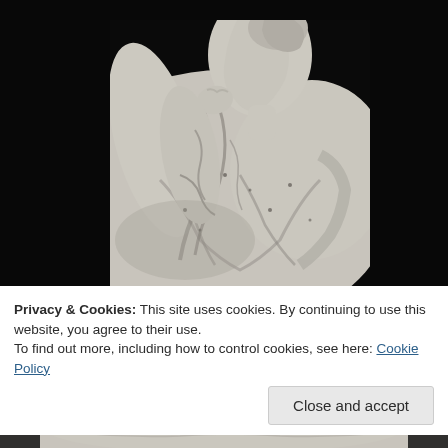[Figure (photo): A classical marble statue of a draped female figure, upper torso and head visible, hand raised to chin in contemplative pose, photographed against a black background.]
Privacy & Cookies: This site uses cookies. By continuing to use this website, you agree to their use.
To find out more, including how to control cookies, see here: Cookie Policy
Close and accept